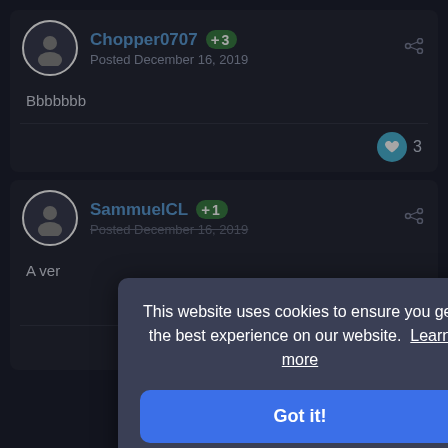Chopper0707 +3 Posted December 16, 2019
Bbbbbbb
3
SammuelCL +1 Posted December 16, 2019
A ver
This website uses cookies to ensure you get the best experience on our website. Learn more
Got it!
1